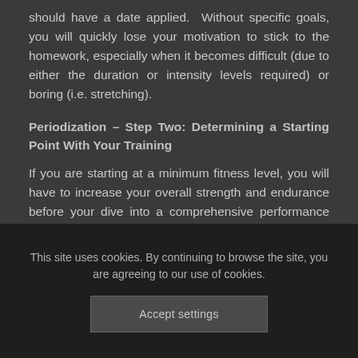should have a date applied.  Without specific goals, you will quickly lose your motivation to stick to the homework, especially when it becomes difficult (due to either the duration or intensity levels required) or boring (i.e. stretching).
Periodization – Step Two: Determining a Starting Point With Your Training
If you are starting at a minimum fitness level, you will have to increase your overall strength and endurance before your dive into a comprehensive performance training program.  As a general rule of thumb, strive
This site uses cookies. By continuing to browse the site, you are agreeing to our use of cookies.
Accept settings